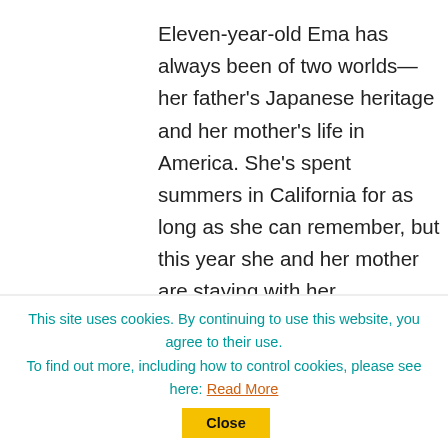Eleven-year-old Ema has always been of two worlds—her father's Japanese heritage and her mother's life in America. She's spent summers in California for as long as she can remember, but this year she and her mother are staying with her grandparents in Japan as they await the arrival of Ema's baby sibling. Her mother's pregnancy has been tricky, putting everyone on edge, but Ema's heart is singing—finally, there will be someone else who will understand what it's like to belong and not belong at the same...
This site uses cookies. By continuing to use this website, you agree to their use. To find out more, including how to control cookies, please see here: Read More  Close